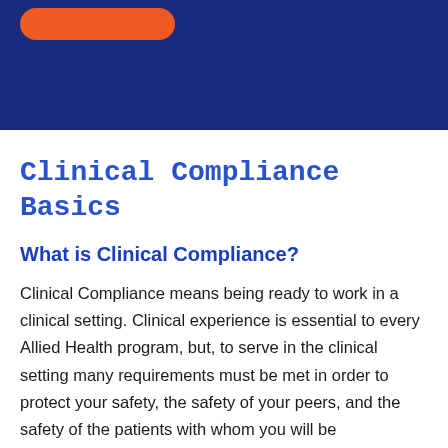[Figure (other): Dark navy blue header band with an orange rounded rectangle button/badge in the upper left corner]
Clinical Compliance Basics
What is Clinical Compliance?
Clinical Compliance means being ready to work in a clinical setting. Clinical experience is essential to every Allied Health program, but, to serve in the clinical setting many requirements must be met in order to protect your safety, the safety of your peers, and the safety of the patients with whom you will be